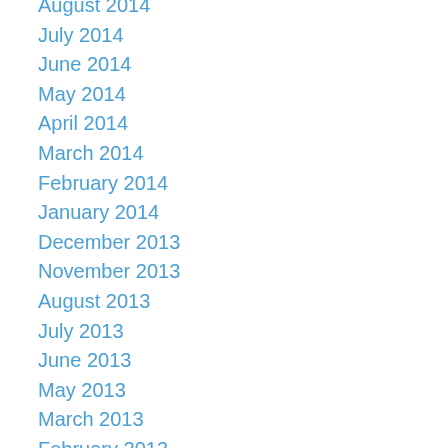August 2014
July 2014
June 2014
May 2014
April 2014
March 2014
February 2014
January 2014
December 2013
November 2013
August 2013
July 2013
June 2013
May 2013
March 2013
February 2013
January 2013
December 2012
November 2012
September 2012